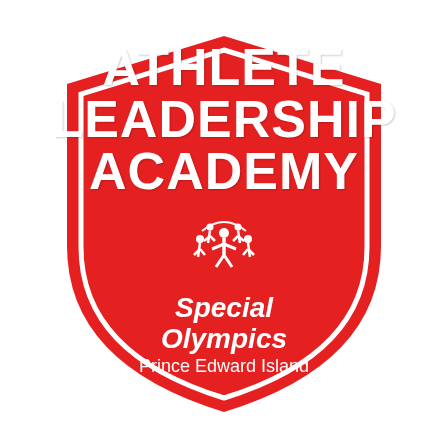[Figure (logo): Red shield-shaped logo for the Athlete Leadership Academy, Special Olympics Prince Edward Island. The shield is red with a white border outline. Inside the shield: bold white uppercase text reading 'ATHLETE LEADERSHIP ACADEMY', below that the Special Olympics flame/people logo in white, then italic bold white text 'Special Olympics' and below that 'Prince Edward Island' in regular white text.]